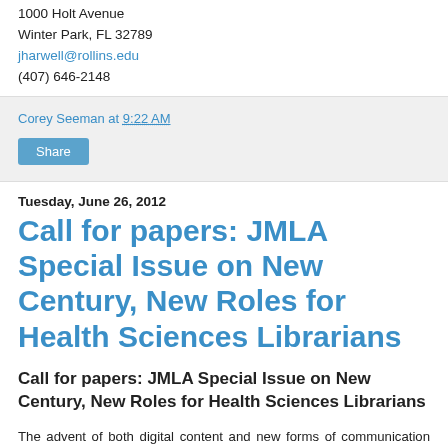1000 Holt Avenue
Winter Park, FL 32789
jharwell@rollins.edu
(407) 646-2148
Corey Seeman at 9:22 AM
Share
Tuesday, June 26, 2012
Call for papers: JMLA Special Issue on New Century, New Roles for Health Sciences Librarians
Call for papers: JMLA Special Issue on New Century, New Roles for Health Sciences Librarians
The advent of both digital content and new forms of communication has made radical changes in the expectations of health science library users for access to information. At the same time, in response to concerns over the increasing cost